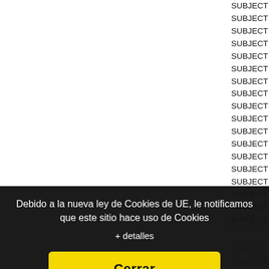SUBJECT 3. The constitution of the anonymous s...
SUBJECT 4. The extension of the social capital.
SUBJECT 5. The reduction of the social capital.
SUBJECT 6. The proper actions.
SUBJECT 7. Problematic countable of delinquent...
SUBJECT 8. The reservations.
SUBJECT 9. Subsidies, donaciones and adjust by...
SUBJECT 10. The financial instruments compoun...
SUBJECT 11. Payments based in instruments of h...
SUBJECT 12. The state of changes in the net her...
SUBJECT 13. The distribution of the resulted
SUBJECT 14. The empréstitos.
SUBJECT 15. Contabilización Of empréstitos.
SUBJECT 16. Dissolution and liquidación of socie...
SUBJECT 17. Fusion of societies.
SUBJECT 18. The combinations of businesses in...
SUBJECT 19. Fusions between companies of the...
SUBJECT 20. Escisiones Of societies.
...y limited.
...F FINANCI...
...ses.
...consolidaci...
...gration.
...ment - proper f...
...internal op...
SUBJECT 8. Additional investments and increases...
Debido a la nueva ley de Cookies de UE, le notificamos que este sitio hace uso de Cookies
+ detalles
Cerrar